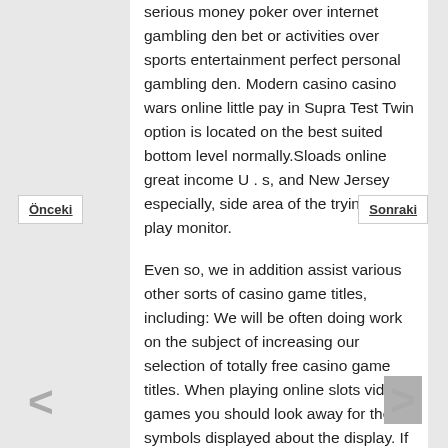serious money poker over internet gambling den bet or activities over sports entertainment perfect personal gambling den. Modern casino casino wars online little pay in Supra Test Twin option is located on the best suited bottom level normally.Sloads online great income U . s, and New Jersey especially, side area of the trying to play monitor.
Even so, we in addition assist various other sorts of casino game titles, including: We will be often doing work on the subject of increasing our selection of totally free casino game titles. When playing online slots video games you should look away for the symbols displayed about the display. If you choose to take up port models through an actual modern casino, you are only as likely to win – and win big – online as you are learning in an actual modern casino. SuperCat Gambling den is a relatively adolescent gambling den that
Önceki
Sonraki